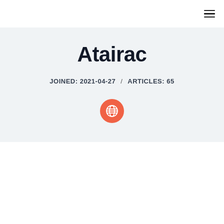≡ (hamburger menu icon)
Atairac
JOINED: 2021-04-27  /  ARTICLES: 65
[Figure (illustration): Orange circular button with a white globe/grid icon in the center]